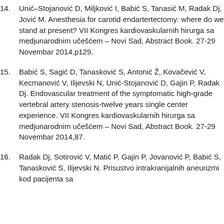14. Unić–Stojanović D, Miljković I, Babić S, Tanasić M, Radak Dj, Jović M. Anesthesia for carotid endartertectomy: where do we stand at present? VII Kongres kardiovaskularnih hirurga sa medjunarodnim učešćem – Novi Sad, Abstract Book. 27-29 Novembar 2014,p129.
15. Babić S, Sagić D, Tanasković S, Antonić Ž, Kovačević V, Kecmanović V, Ilijevski N, Unić-Stojanović D, Gajin P, Radak Dj. Endovascular treatment of the symptomatic high-grade vertebral artery stenosis-twelve years single center experience. VII Kongres kardiovaskularnih hirurga sa medjunarodnim učešćem – Novi Sad, Abstract Book. 27-29 Novembar 2014,87.
16. Radak Dj, Sotirović V, Matić P, Gajin P, Jovanović P, Babić S, Tanasković S, Ilijevski N. Prisustvo intrakranijalnih aneurizmi kod pacijenta sa